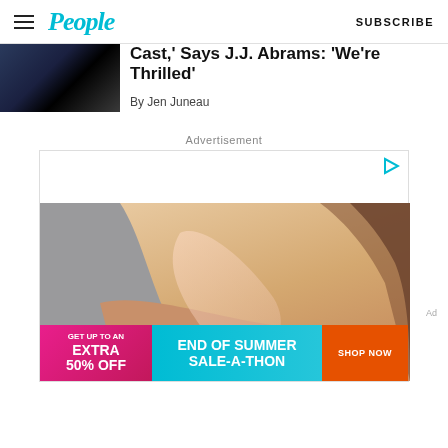People | SUBSCRIBE
[Figure (photo): Partial thumbnail image with dark blue/black background, appears to be a person in dark clothing]
Cast,' Says J.J. Abrams: 'We're Thrilled'
By Jen Juneau
Advertisement
[Figure (photo): Close-up photo of a person's neck and décolletage area with what appears to be a skin care product or patch applied. Below is an advertisement banner: GET UP TO AN EXTRA 50% OFF | END OF SUMMER SALE-A-THON | SHOP NOW]